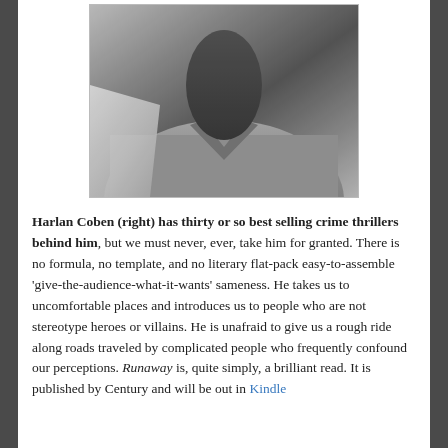[Figure (photo): Photograph of a man in a grey v-neck shirt, cropped to show neck and torso, partially obscured, black and white/grayscale tones.]
Harlan Coben (right) has thirty or so best selling crime thrillers behind him, but we must never, ever, take him for granted. There is no formula, no template, and no literary flat-pack easy-to-assemble 'give-the-audience-what-it-wants' sameness. He takes us to uncomfortable places and introduces us to people who are not stereotype heroes or villains. He is unafraid to give us a rough ride along roads traveled by complicated people who frequently confound our perceptions. Runaway is, quite simply, a brilliant read. It is published by Century and will be out in Kindle